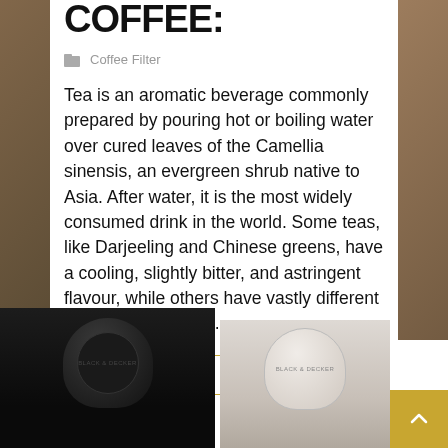COFFEE:
Coffee Filter
Tea is an aromatic beverage commonly prepared by pouring hot or boiling water over cured leaves of the Camellia sinensis, an evergreen shrub native to Asia. After water, it is the most widely consumed drink in the world. Some teas, like Darjeeling and Chinese greens, have a cooling, slightly bitter, and astringent flavour, while others have vastly different profiles that include...
Read more
[Figure (photo): Two coffee makers/cups on bottom of page - one black on left, one white on right]
[Figure (other): Scroll-to-top button, gold/yellow square with up arrow, bottom right corner]